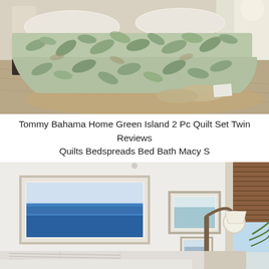[Figure (photo): Photo of a bed with a green tropical leaf-patterned quilt/bedspread set. The quilt features a white and sage green botanical print. A book and slippers are visible on a jute rug beside the bed. Natural light from a window in the background.]
Tommy Bahama Home Green Island 2 Pc Quilt Set Twin Reviews Quilts Bedspreads Bed Bath Macy S
[Figure (photo): Photo of a coastal-style bedroom interior. White walls with framed ocean/beach artwork hung gallery-style. A white shutter-style headboard is visible at the bottom. A wooden arc lamp with white shade sits on a nightstand. A bamboo roman shade hangs on the right window with palm fronds visible outside.]